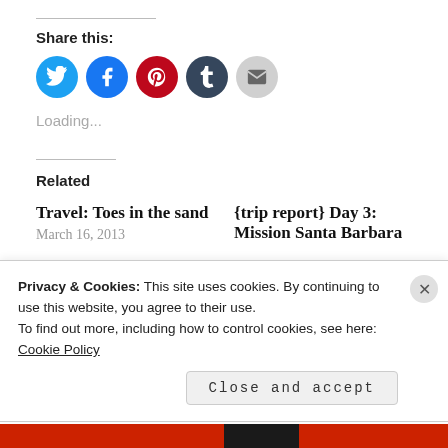Share this:
[Figure (infographic): Five social sharing icon buttons: Twitter (cyan), Facebook (blue), Pinterest (red), Tumblr (dark navy), Email (light gray) — all circular]
Loading...
Related
Travel: Toes in the sand
March 16, 2013
{trip report} Day 3: Mission Santa Barbara
Privacy & Cookies: This site uses cookies. By continuing to use this website, you agree to their use.
To find out more, including how to control cookies, see here:
Cookie Policy
Close and accept